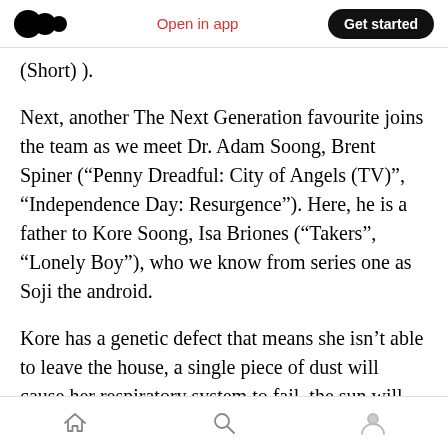Medium logo | Open in app | Get started
(Short) ).
Next, another The Next Generation favourite joins the team as we meet Dr. Adam Soong, Brent Spiner (“Penny Dreadful: City of Angels (TV)”, “Independence Day: Resurgence”). Here, he is a father to Kore Soong, Isa Briones (“Takers”, “Lonely Boy”), who we know from series one as Soji the android.
Kore has a genetic defect that means she isn’t able to leave the house, a single piece of dust will cause her respiratory system to fail, the sun will
Home | Search | Profile